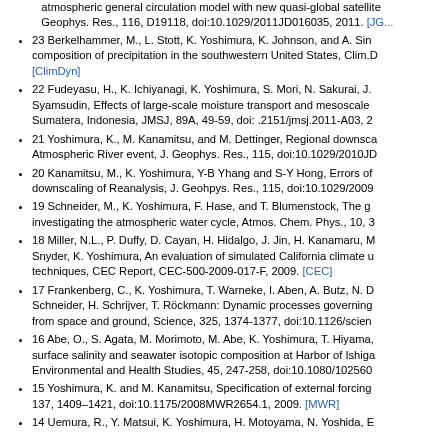(partial) atmospheric general circulation model with new quasi-global satellite data, J. Geophys. Res., 116, D19118, doi:10.1029/2011JD016035, 2011. [JG...]
23 Berkelhammer, M., L. Stott, K. Yoshimura, K. Johnson, and A. Sin... composition of precipitation in the southwestern United States, Clim.D... [ClimDyn]
22 Fudeyasu, H., K. Ichiyanagi, K. Yoshimura, S. Mori, N. Sakurai, J.... Syamsudin, Effects of large-scale moisture transport and mesoscale... Sumatera, Indonesia, JMSJ, 89A, 49-59, doi: .2151/jmsj.2011-A03, 2...
21 Yoshimura, K., M. Kanamitsu, and M. Dettinger, Regional downsca... Atmospheric River event, J. Geophys. Res., 115, doi:10.1029/2010JD...
20 Kanamitsu, M., K. Yoshimura, Y-B Yhang and S-Y Hong, Errors of... downscaling of Reanalysis, J. Geohpys. Res., 115, doi:10.1029/2009...
19 Schneider, M., K. Yoshimura, F. Hase, and T. Blumenstock, The gr... investigating the atmospheric water cycle, Atmos. Chem. Phys., 10, 3...
18 Miller, N.L., P. Duffy, D. Cayan, H. Hidalgo, J. Jin, H. Kanamaru, M... Snyder, K. Yoshimura, An evaluation of simulated California climate u... techniques, CEC Report, CEC-500-2009-017-F, 2009. [CEC]
17 Frankenberg, C., K. Yoshimura, T. Warneke, I. Aben, A. Butz, N. D... Schneider, H. Schrijver, T. Röckmann: Dynamic processes governing... from space and ground, Science, 325, 1374-1377, doi:10.1126/scien...
16 Abe, O., S. Agata, M. Morimoto, M. Abe, K. Yoshimura, T. Hiyama,... surface salinity and seawater isotopic composition at Harbor of Ishiga... Environmental and Health Studies, 45, 247-258, doi:10.1080/102560...
15 Yoshimura, K. and M. Kanamitsu, Specification of external forcing... 137, 1409–1421, doi:10.1175/2008MWR2654.1, 2009. [MWR]
14 Uemura, R., Y. Matsui, K. Yoshimura, H. Motoyama, N. Yoshida, E... (partial, cut off)